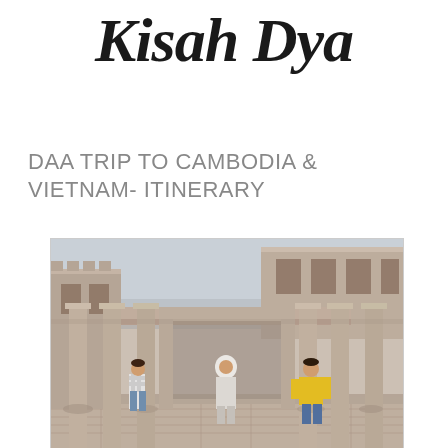Kisah Dya
DAA TRIP TO CAMBODIA & VIETNAM- ITINERARY
[Figure (photo): Three people standing among ancient stone ruins, likely Angkor Wat temple complex in Cambodia. The ruins feature stone columns and archways. One person wears a yellow jacket on the right, one in the center wears a white hijab, and one on the left wears a checkered shirt and jeans.]